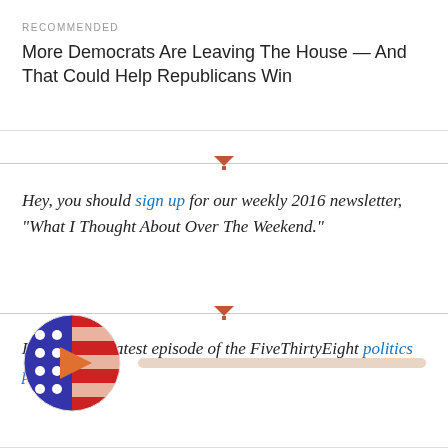RECOMMENDED
More Democrats Are Leaving The House — And That Could Help Republicans Win
Hey, you should sign up for our weekly 2016 newsletter, "What I Thought About Over The Weekend."
Listen to the latest episode of the FiveThirtyEight politics podcast.
[Figure (illustration): FiveThirtyEight politics podcast circular logo with American flag design split — left half blue with white dots (stars), right half red and white stripes, with an orange play button triangle in the center. Below the circle is a horizontal progress/audio bar in light beige/tan color.]